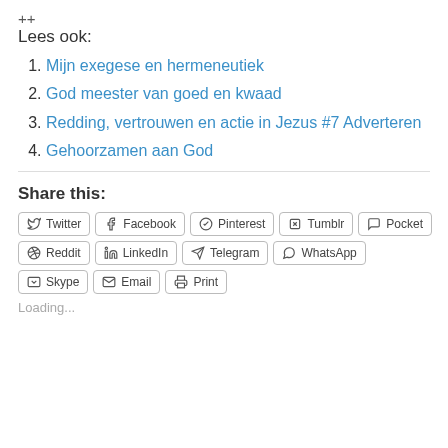++
Lees ook:
Mijn exegese en hermeneutiek
God meester van goed en kwaad
Redding, vertrouwen en actie in Jezus #7 Adverteren
Gehoorzamen aan God
Share this:
Twitter Facebook Pinterest Tumblr Pocket Reddit LinkedIn Telegram WhatsApp Skype Email Print
Loading...